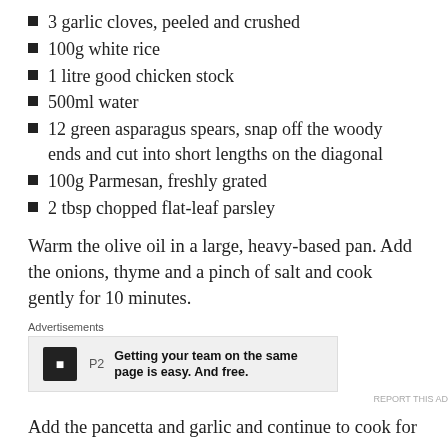3 garlic cloves, peeled and crushed
100g white rice
1 litre good chicken stock
500ml water
12 green asparagus spears, snap off the woody ends and cut into short lengths on the diagonal
100g Parmesan, freshly grated
2 tbsp chopped flat-leaf parsley
Warm the olive oil in a large, heavy-based pan. Add the onions, thyme and a pinch of salt and cook gently for 10 minutes.
[Figure (other): Advertisement box for P2 service with logo and text: Getting your team on the same page is easy. And free.]
Add the pancetta and garlic and continue to cook for